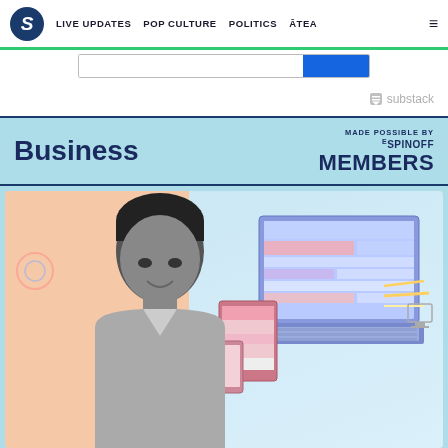S | LIVE UPDATES  POP CULTURE  POLITICS  ĀTEA  ☰
[Figure (screenshot): Search bar with blue submit button]
[Figure (logo): Substack logo in grey]
Business
MADE POSSIBLE BY
ᴱSPINOFF MEMBERS
[Figure (illustration): Young man in black and white on peach background beside colourful illustration of laptop, tablet and phone with digital interface elements]